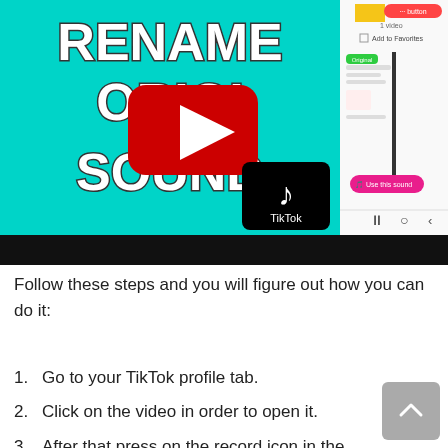[Figure (screenshot): A YouTube thumbnail/screenshot showing a TikTok tutorial video titled 'RENAME ORIGINAL SOUND' on a cyan/teal background with white bold text, a red YouTube play button overlay in the center, a TikTok logo icon in the bottom right, and a partial mobile phone UI showing a TikTok sound page on the right side. The bottom portion of the image is a black bar.]
Follow these steps and you will figure out how you can do it:
1. Go to your TikTok profile tab.
2. Click on the video in order to open it.
3. After that press on the record icon in the bottom right...